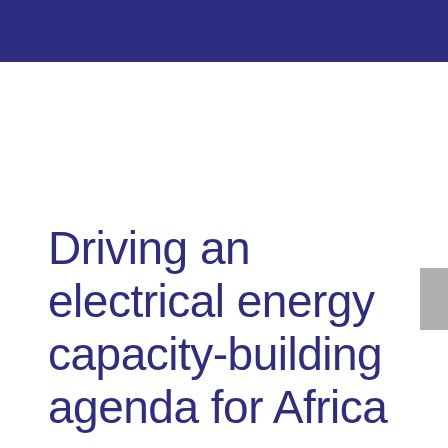Driving an electrical energy capacity-building agenda for Africa